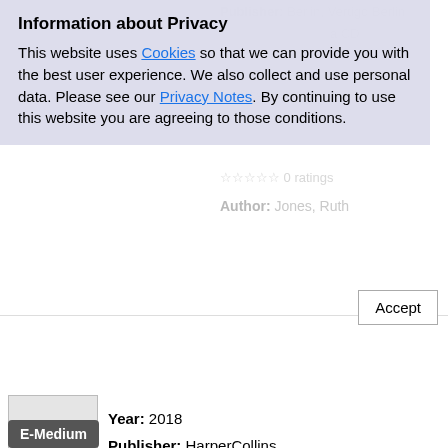Information about Privacy
This website uses Cookies so that we can provide you with the best user experience. We also collect and use personal data. Please see our Privacy Notes. By continuing to use this website you are agreeing to those conditions.
Accept
Author: Jones, Ruth
Year: 2018
Publisher: HarperCollins
eBook
Reservable: Yes
loaned until: 9/11/2022 12:00 AM
not available (reserve)
Alles schläft
Ein weihnachtlicher Kriminalroman
0 ratings
Author: Jarosch, Lisbeth